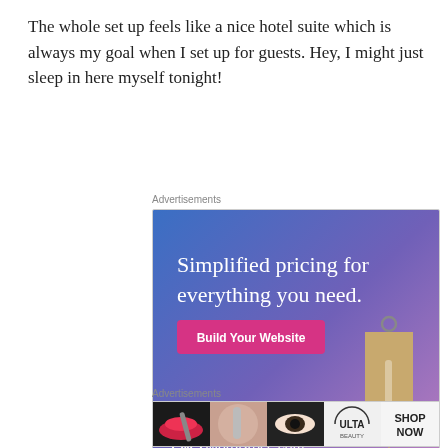The whole set up feels like a nice hotel suite which is always my goal when I set up for guests. Hey,  I might just sleep in here myself tonight!
Advertisements
[Figure (screenshot): WordPress.com advertisement banner with blue-purple gradient background, text 'Simplified pricing for everything you need.', a pink 'Build Your Website' button, a tan price tag image, and WordPress.com logo at the bottom.]
Advertisements
[Figure (screenshot): Ulta Beauty advertisement strip showing cosmetic images: red lips with makeup brush, eye with mascara, Ulta Beauty logo, smoky eye makeup, and 'SHOP NOW' text on white background.]